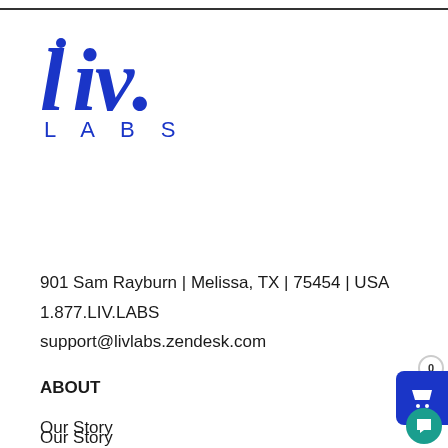[Figure (logo): Liv Labs logo: stylized blue italic 'liv.' text with dot above the 'i', and 'LABS' in spaced blue uppercase letters below]
901 Sam Rayburn | Melissa, TX | 75454 | USA
1.877.LIV.LABS
support@livlabs.zendesk.com
ABOUT
Our Story
LivBlog
CBD Science
FAQs
FDA Registered Manufacturer